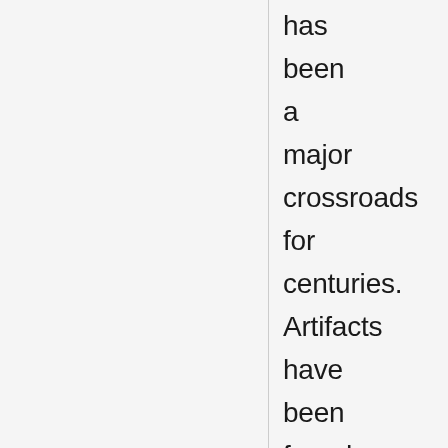has been a major crossroads for centuries. Artifacts have been found here from Neolithic times.